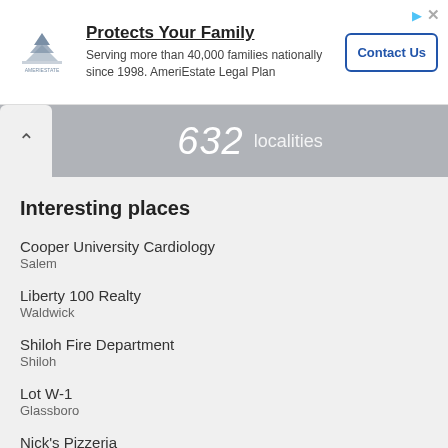[Figure (logo): AmeriEstate logo and advertisement banner: 'Protects Your Family - Serving more than 40,000 families nationally since 1998. AmeriEstate Legal Plan' with a Contact Us button]
632 localities
Interesting places
Cooper University Cardiology
Salem
Liberty 100 Realty
Waldwick
Shiloh Fire Department
Shiloh
Lot W-1
Glassboro
Nick's Pizzeria